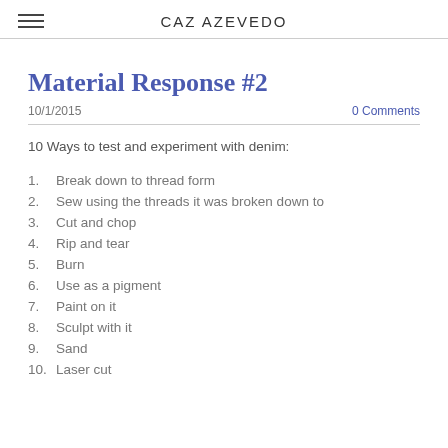CAZ AZEVEDO
Material Response #2
10/1/2015
0 Comments
10 Ways to test and experiment with denim:
Break down to thread form
Sew using the threads it was broken down to
Cut and chop
Rip and tear
Burn
Use as a pigment
Paint on it
Sculpt with it
Sand
Laser cut